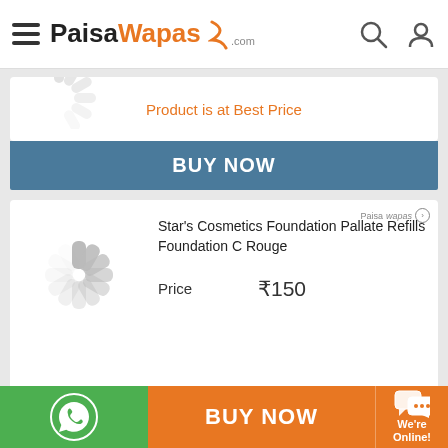PaisaWapas.com
Product is at Best Price
BUY NOW
[Figure (screenshot): Loading spinner placeholder for product image]
Star's Cosmetics Foundation Pallate Refills Foundation C Rouge
Price  ₹150
Product is at Best Price
BUY NOW
BUY NOW
We're Online!